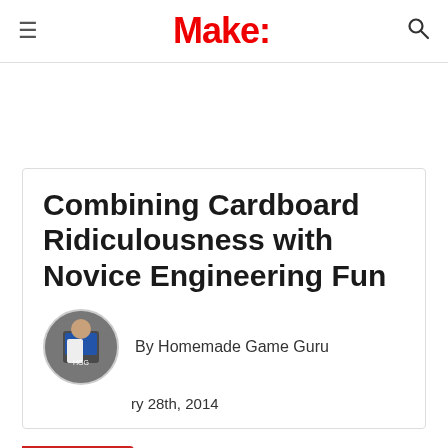Make:
Combining Cardboard Ridiculousness with Novice Engineering Fun
By Homemade Game Guru
January 28th, 2014
[Figure (photo): Circular author avatar photo of Homemade Game Guru]
FEEDBACK